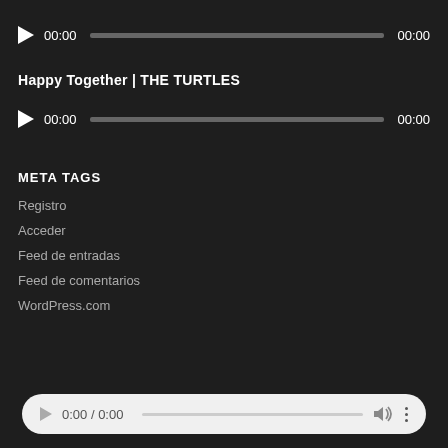[Figure (screenshot): Audio player widget with play button, 00:00 timestamp, progress bar, and 00:00 end timestamp on dark background]
Happy Together | THE TURTLES
[Figure (screenshot): Second audio player widget with play button, 00:00 timestamp, progress bar, and 00:00 end timestamp on dark background]
META TAGS
Registro
Acceder
Feed de entradas
Feed de comentarios
WordPress.com
[Figure (screenshot): Bottom media player bar with play button, 0:00 / 0:00 time display, progress bar, volume icon, and more options icon on light rounded background]